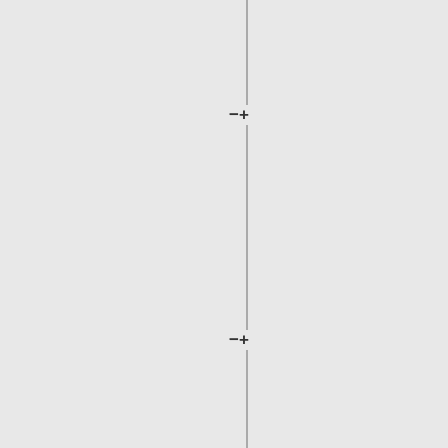==How do I get my terminal to work with this system ?==
== Help ==
If you have questions that you can't resolve by checking documentation, [mailto:cac.help@queensu.ca email to cac.help@queensu.ca].
In most cases your terminal settings are automatically selected and work "as is".
|}